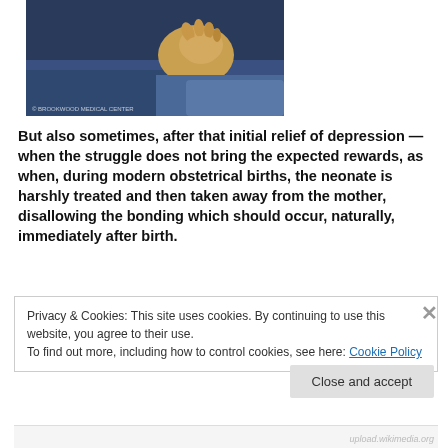[Figure (photo): Medical/obstetrical image showing a newborn's hand reaching up during birth, with blue surgical drapes visible. Watermark reads '© BROOKWOOD MEDICAL CENTER'.]
But also sometimes, after that initial relief of depression — when the struggle does not bring the expected rewards, as when, during modern obstetrical births, the neonate is harshly treated and then taken away from the mother, disallowing the bonding which should occur, naturally, immediately after birth.
Privacy & Cookies: This site uses cookies. By continuing to use this website, you agree to their use.
To find out more, including how to control cookies, see here: Cookie Policy
Close and accept